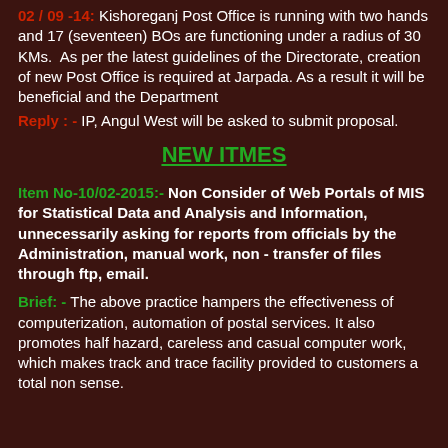02 / 09 -14: Kishoreganj Post Office is running with two hands and 17 (seventeen) BOs are functioning under a radius of 30 KMs. As per the latest guidelines of the Directorate, creation of new Post Office is required at Jarpada. As a result it will be beneficial and the Department
Reply : - IP, Angul West will be asked to submit proposal.
NEW ITMES
Item No-10/02-2015:- Non Consider of Web Portals of MIS for Statistical Data and Analysis and Information, unnecessarily asking for reports from officials by the Administration, manual work, non - transfer of files through ftp, email.
Brief: - The above practice hampers the effectiveness of computerization, automation of postal services. It also promotes half hazard, careless and casual computer work, which makes track and trace facility provided to customers a total non sense.